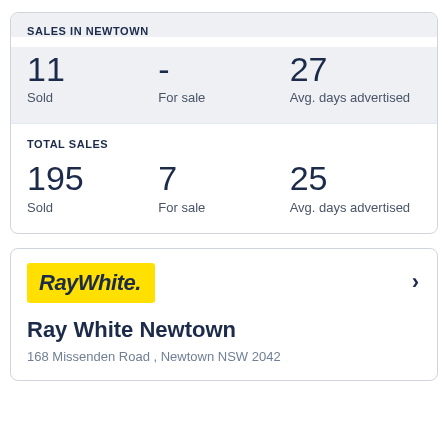SALES IN NEWTOWN
11 Sold
- For sale
27 Avg. days advertised
TOTAL SALES
195 Sold
7 For sale
25 Avg. days advertised
[Figure (logo): Ray White real estate agency logo on yellow background]
Ray White Newtown
168 Missenden Road , Newtown NSW 2042